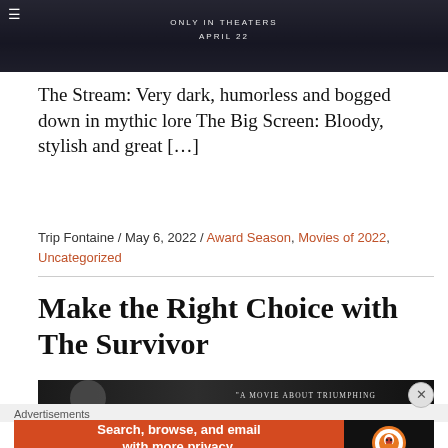[Figure (screenshot): Dark movie promotional banner with text 'ONLY IN THEATERS APRIL 22']
The Stream: Very dark, humorless and bogged down in mythic lore The Big Screen: Bloody, stylish and great [...]
Trip Fontaine / May 6, 2022 / Award Season, Movies of 2022, Uncategorized
Make the Right Choice with The Survivor
[Figure (screenshot): Movie promotional image with quote: 'A MOVIE ABOUT TRIUMPHING THROUGH ADVERSITY... IN YOUR HEART AND YOUR MIND' - THE PLAYLIST]
Advertisements
[Figure (screenshot): DuckDuckGo advertisement: Search, browse, and email with more privacy. All in One Free App]